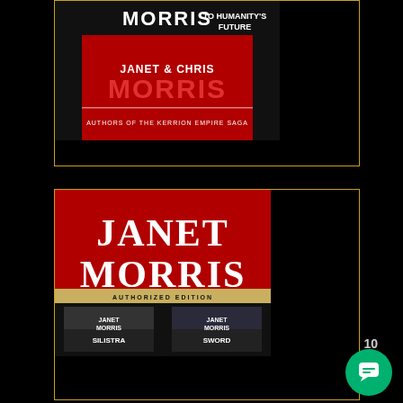[Figure (illustration): Book cover card (top): Red and dark background showing MORRIS text, 'TO HUMANITY'S FUTURE', JANET & CHRIS MORRIS, AUTHORS OF THE KERRION EMPIRE SAGA, with golden border]
THE SILISTRA QUARTET
[Figure (illustration): Book cover card (bottom): Shows JANET MORRIS in large white text on red/dark background, with two sub-covers for SILISTRA and SWORD, and AUTHORIZED EDITION text. Golden border around card.]
10